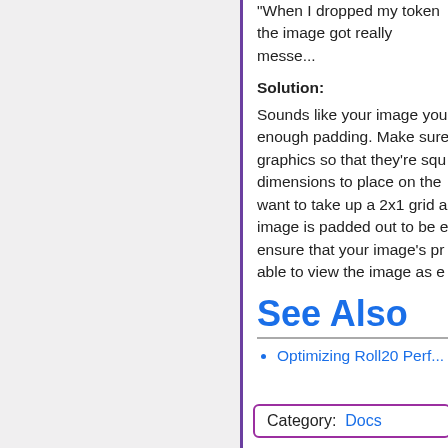"When I dropped my token the image got really messe...
Solution:
Sounds like your image you enough padding. Make sure graphics so that they're squ dimensions to place on the want to take up a 2x1 grid a image is padded out to be e ensure that your image's pr able to view the image as e
See Also
Optimizing Roll20 Perf...
Category:  Docs